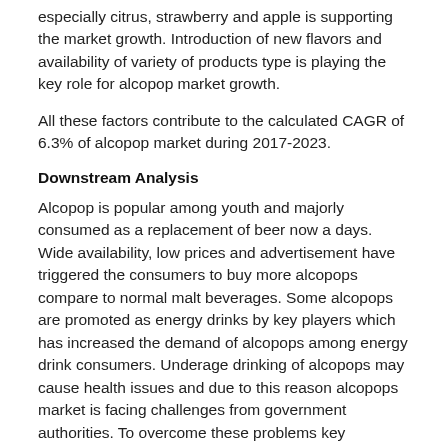especially citrus, strawberry and apple is supporting the market growth. Introduction of new flavors and availability of variety of products type is playing the key role for alcopop market growth.
All these factors contribute to the calculated CAGR of 6.3% of alcopop market during 2017-2023.
Downstream Analysis
Alcopop is popular among youth and majorly consumed as a replacement of beer now a days. Wide availability, low prices and advertisement have triggered the consumers to buy more alcopops compare to normal malt beverages. Some alcopops are promoted as energy drinks by key players which has increased the demand of alcopops among energy drink consumers. Underage drinking of alcopops may cause health issues and due to this reason alcopops market is facing challenges from government authorities. To overcome these problems key manufacturers are focusing on R&D activities to invent healthy combination of alcoholic beverages, fruit juice and sweeteners.
Access the market data and market information presented through more than 60 market data tables and 25 figures